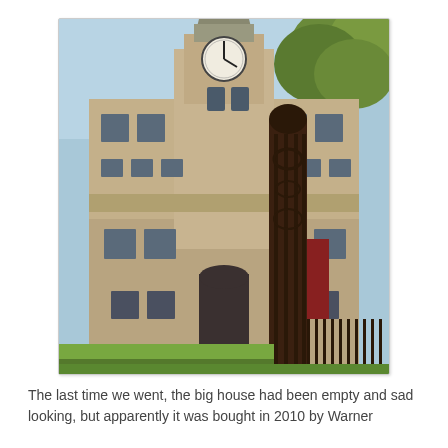[Figure (photo): Photograph of a large Victorian Gothic stone building with a clock tower, ornate ironwork gate in the foreground, and trees visible at the top right. The building has multiple floors with arched windows and decorative stonework. Green lawn visible at the base.]
The last time we went, the big house had been empty and sad looking, but apparently it was bought in 2010 by Warner